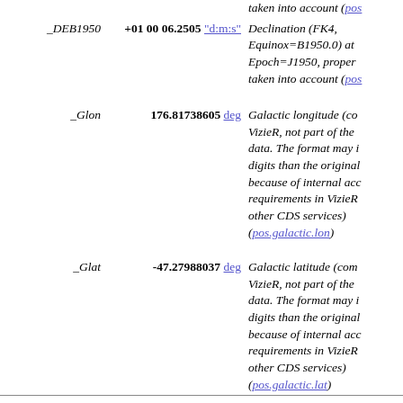| Name | Value | Description |
| --- | --- | --- |
| _DEB1950 | +01 00 06.2505 "d:m:s" | Declination (FK4, Equinox=B1950.0) at Epoch=J1950, proper taken into account (pos...) |
| _Glon | 176.81738605 deg | Galactic longitude (com... VizieR, not part of the d... data. The format may i... digits than the original... because of internal acc... requirements in VizieR... other CDS services) (pos.galactic.lon) |
| _Glat | -47.27988037 deg | Galactic latitude (comp... VizieR, not part of the d... data. The format may i... digits than the original... because of internal acc... requirements in VizieR... other CDS services) (pos.galactic.lat) |
| mode | 2 | [1,2] 1: primary (469,0... sources), 2: secondary... |